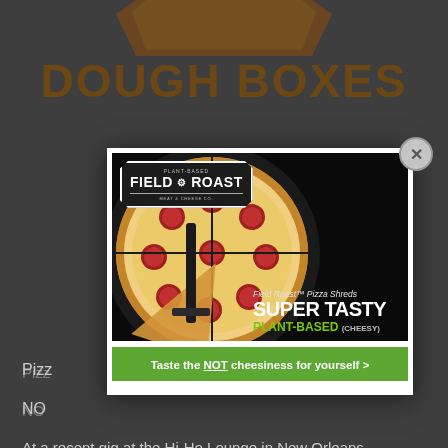[Figure (photo): Background page showing 'DOUGH BOXES' heading in brown/gold with a pizza box image at top, dimmed behind modal overlay]
Pizza
NO
You
sta
of p
co-
has
At a recent gig at the Hi-Ho Lounge in New Orleans, fans dressed up in pizza boxes and waited impatiently through two opening acts before the
[Figure (photo): Field Roast advertisement showing a pepperoni pizza with a slice being lifted. Field Roast logo in top left. Text reads 'Field Roast Pizza Shreds SUPER TASTY PLANT-BASED (CHEESY)' with green CTA button 'Taste the NOT cheesiness for yourself >']